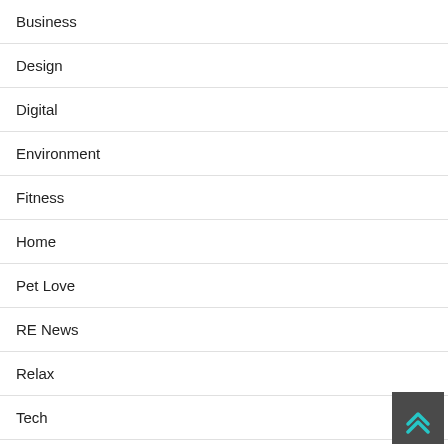Business
Design
Digital
Environment
Fitness
Home
Pet Love
RE News
Relax
Tech
Trends
[Figure (illustration): Dark gray square button with teal/cyan double chevron arrow pointing upward (back-to-top button)]